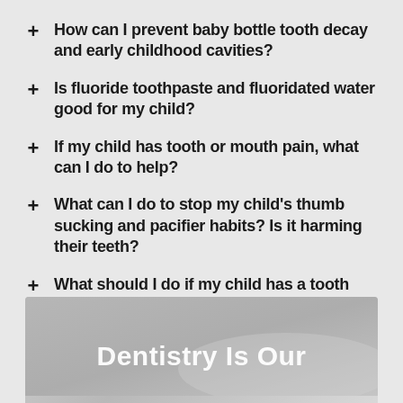How can I prevent baby bottle tooth decay and early childhood cavities?
Is fluoride toothpaste and fluoridated water good for my child?
If my child has tooth or mouth pain, what can I do to help?
What can I do to stop my child's thumb sucking and pacifier habits? Is it harming their teeth?
What should I do if my child has a tooth knocked out?
[Figure (photo): Banner image with text 'Dentistry Is Our' overlaid in white, showing a dental/clinical background]